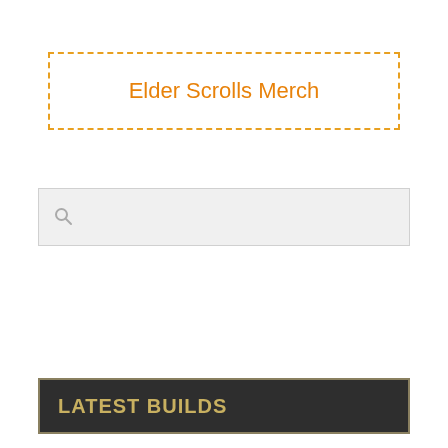[Figure (infographic): Dashed orange border box with centered text 'Elder Scrolls Merch' in orange]
[Figure (screenshot): Search bar with gray background and magnifying glass icon]
LATEST BUILDS